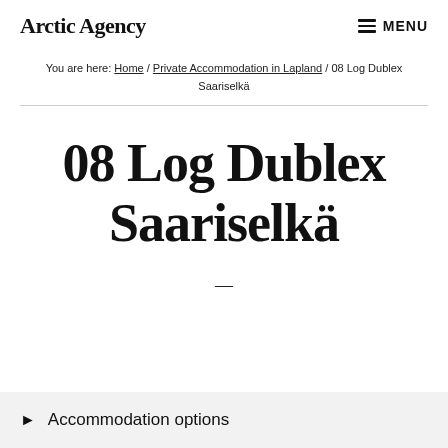Arctic Agency  MENU
You are here: Home / Private Accommodation in Lapland / 08 Log Dublex Saariselkä
08 Log Dublex Saariselkä
—
▶ Accommodation options